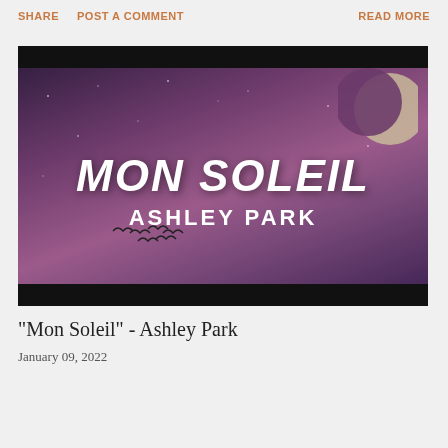SHARE   POST A COMMENT   READ MORE
[Figure (illustration): Music video thumbnail for 'Mon Soleil' by Ashley Park. Purple/violet night sky background with a crescent moon in the upper right, birds silhouettes at the bottom center. Large white brush-style text reads 'MON SOLEIL' and below it 'ASHLEY PARK'. Black letterbox bars at top and bottom.]
"Mon Soleil" - Ashley Park
January 09, 2022